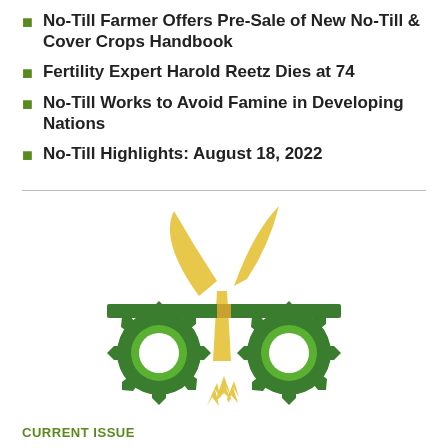No-Till Farmer Offers Pre-Sale of New No-Till & Cover Crops Handbook
Fertility Expert Harold Reetz Dies at 74
No-Till Works to Avoid Famine in Developing Nations
No-Till Highlights: August 18, 2022
[Figure (logo): No-Till Farmer logo: yellow plant seedling growing from between two green serrated gear wheels, with a horizontal green bar across the stem, and yellow broken fragments below the gears.]
CURRENT ISSUE